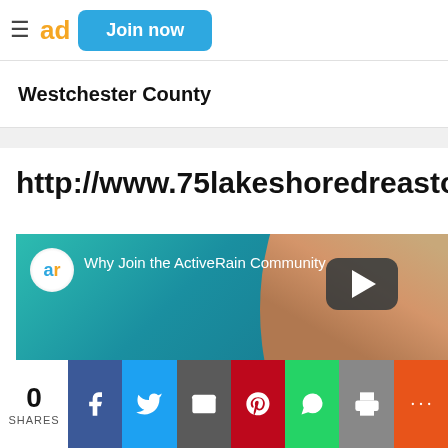≡ ac  Join now
Westchester County
http://www.75lakeshoredreasto
[Figure (screenshot): Video thumbnail showing a blonde woman with an ActiveRain logo and text 'Why Join the ActiveRain Community', with a play button overlay on a teal/blue gradient background]
0 SHARES | Facebook | Twitter | Email | Pinterest | WhatsApp | Print | More